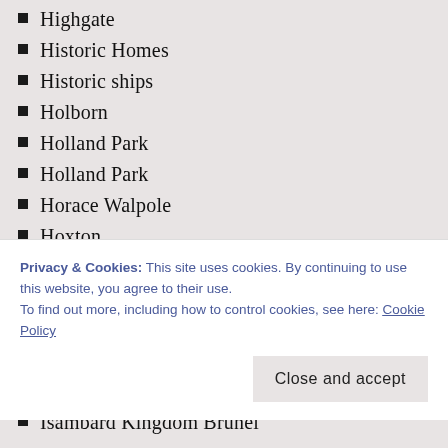Highgate
Historic Homes
Historic ships
Holborn
Holland Park
Holland Park
Horace Walpole
Hoxton
Hundred Years War
Hyde Park Corner
Inigo Jones
Iron Age
Isaac Newton
Isambard Kingdom Brunel
Privacy & Cookies: This site uses cookies. By continuing to use this website, you agree to their use.
To find out more, including how to control cookies, see here: Cookie Policy
Close and accept